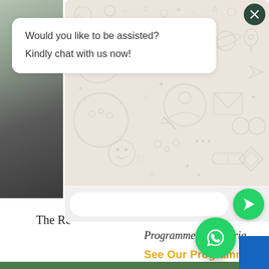[Figure (screenshot): Website background showing a photo strip on the left (dark/grey tones, person's head visible), decorative WhatsApp chat background pattern in beige/cream, and website content with 'The Re...' title and 'Programmes in Nigeria' text and 'See Our Programmes >' link in gold/yellow]
Would you like to be assisted?
Kindly chat with us now!
Programmes in Nigeria
See Our Programmes >